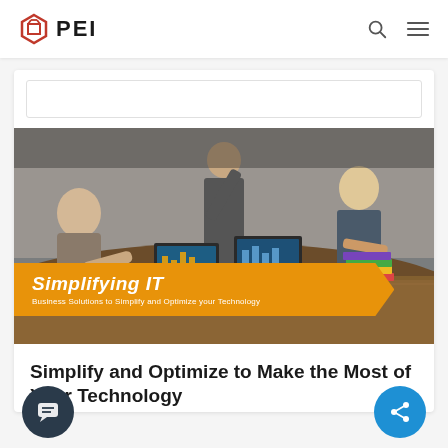PEI
[Figure (photo): Business meeting photo showing people around a table with laptops, with an orange banner overlay reading 'Simplifying IT – Business Solutions to Simplify and Optimize your Technology']
Simplify and Optimize to Make the Most of Your Technology